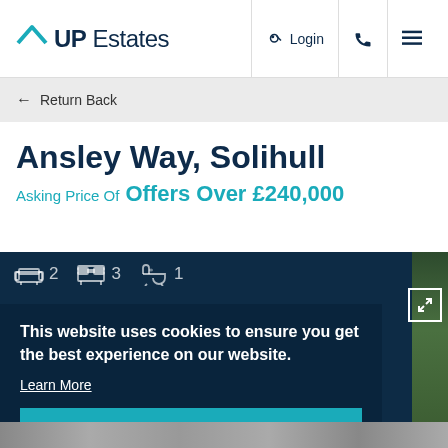UP Estates | Login | Phone | Menu
← Return Back
Ansley Way, Solihull
Asking Price Of Offers Over £240,000
[Figure (screenshot): Property listing image showing features: 2 reception rooms, 3 bedrooms, 1 bathroom with dark overlay and photo of house exterior on right]
This website uses cookies to ensure you get the best experience on our website. Learn More
That's fine